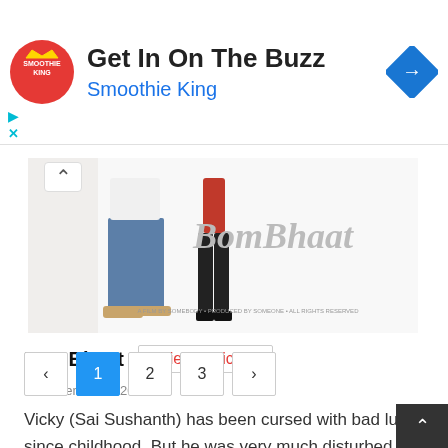[Figure (infographic): Smoothie King advertisement banner with logo, 'Get In On The Buzz' headline, 'Smoothie King' subtext in blue, and a blue diamond direction icon on the right.]
[Figure (photo): Movie poster for BomBhaat showing people standing with stylized text logo.]
BomBhaat
Science Fiction
03 December 2020
Vicky (Sai Sushanth) has been cursed with bad luck since childhood. But he was very much disturbed w more...